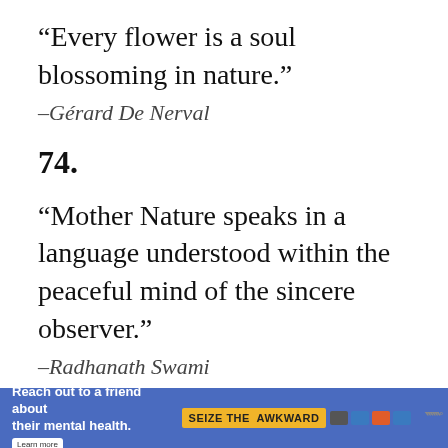“Every flower is a soul blossoming in nature.”
–Gérard De Nerval
74.
“Mother Nature speaks in a language understood within the peaceful mind of the sincere observer.”
–Radhanath Swami
75.
[Figure (infographic): Ad banner: 'Reach out to a friend about their mental health. Learn more' with 'SEIZE THE AWKWARD' badge and logos, blue background.]